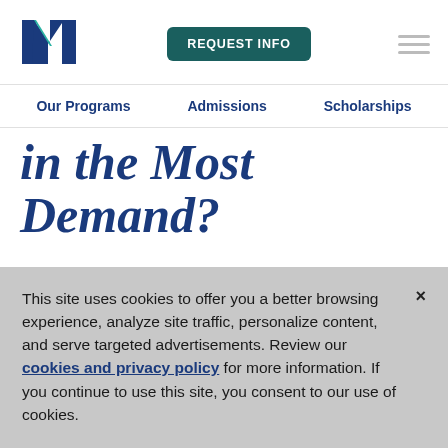[Figure (logo): University logo with stylized N in navy blue and teal]
REQUEST INFO
Our Programs   Admissions   Scholarships
in the Most Demand?
This site uses cookies to offer you a better browsing experience, analyze site traffic, personalize content, and serve targeted advertisements. Review our cookies and privacy policy for more information. If you continue to use this site, you consent to our use of cookies.